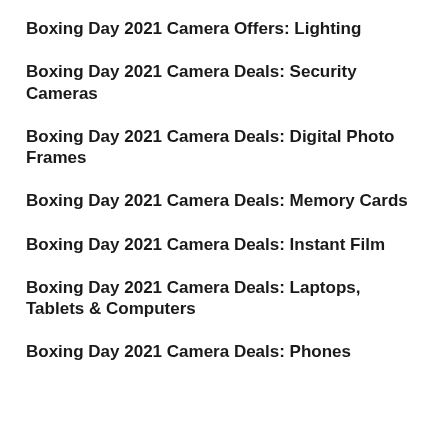Boxing Day 2021 Camera Offers: Lighting
Boxing Day 2021 Camera Deals: Security Cameras
Boxing Day 2021 Camera Deals: Digital Photo Frames
Boxing Day 2021 Camera Deals: Memory Cards
Boxing Day 2021 Camera Deals: Instant Film
Boxing Day 2021 Camera Deals: Laptops, Tablets & Computers
Boxing Day 2021 Camera Deals: Phones